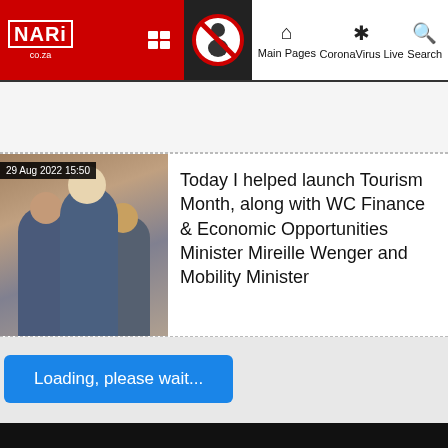NARI.co.za | Main Pages | CoronaVirus Live | Search
[Figure (photo): News article photo showing people posing together, dated 29 Aug 2022 15:50]
Today I helped launch Tourism Month, along with WC Finance & Economic Opportunities Minister Mireille Wenger and Mobility Minister
Loading, please wait...